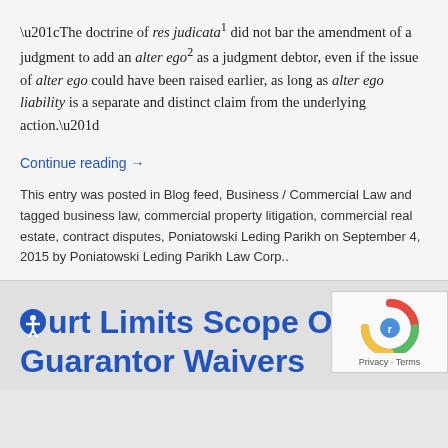“The doctrine of res judicata¹ did not bar the amendment of a judgment to add an alter ego² as a judgment debtor, even if the issue of alter ego could have been raised earlier, as long as alter ego liability is a separate and distinct claim from the underlying action.”
Continue reading →
This entry was posted in Blog feed, Business / Commercial Law and tagged business law, commercial property litigation, commercial real estate, contract disputes, Poniatowski Leding Parikh on September 4, 2015 by Poniatowski Leding Parikh Law Corp..
Court Limits Scope Of Guarantor Waivers